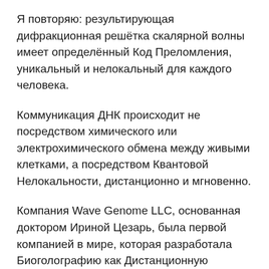Я повторяю: результирующая дифракционная решётка скалярной волны имеет определённый Код Преломления, уникальный и нелокальный для каждого человека.
Коммуникация ДНК происходит не посредством химического или электрохимического обмена между живыми клетками, а посредством Квантовой Нелокальности, дистанционно и мгновенно.
Компания Wave Genome LLC, основанная доктором Ириной Цезарь, была первой компанией в мире, которая разработала Биоголографию как Дистанционную Волновую Оптику, основанную на Кодах Преломления в масштабированной дифракционной решЁтке скалярной волны.